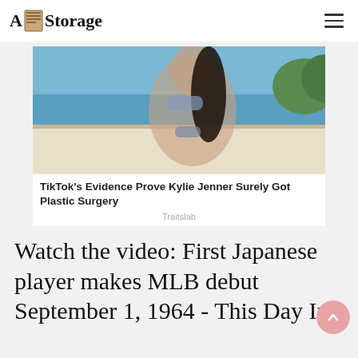A Storage
[Figure (photo): Woman in silver bikini sitting on a yacht deck with ocean and greenery in the background]
TikTok's Evidence Prove Kylie Jenner Surely Got Plastic Surgery
Traitslab
Watch the video: First Japanese player makes MLB debut September 1, 1964 - This Day In